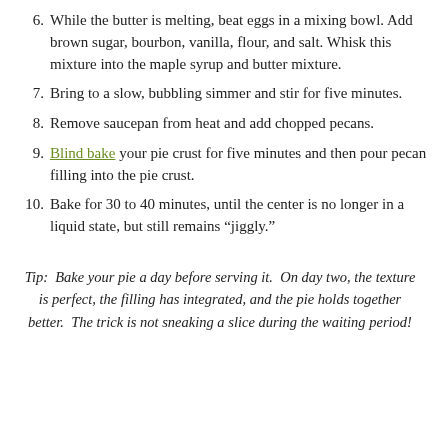6. While the butter is melting, beat eggs in a mixing bowl. Add brown sugar, bourbon, vanilla, flour, and salt. Whisk this mixture into the maple syrup and butter mixture.
7. Bring to a slow, bubbling simmer and stir for five minutes.
8. Remove saucepan from heat and add chopped pecans.
9. Blind bake your pie crust for five minutes and then pour pecan filling into the pie crust.
10. Bake for 30 to 40 minutes, until the center is no longer in a liquid state, but still remains “jiggly.”
Tip:  Bake your pie a day before serving it.  On day two, the texture is perfect, the filling has integrated, and the pie holds together better.  The trick is not sneaking a slice during the waiting period!